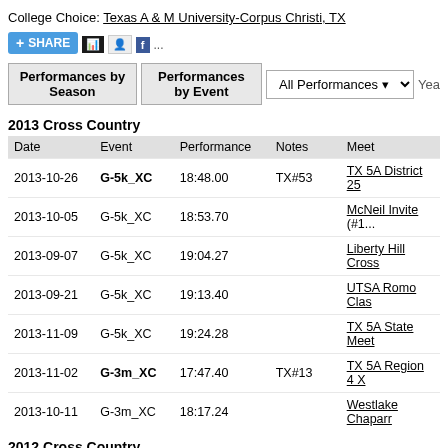College Choice: Texas A & M University-Corpus Christi, TX
[Figure (screenshot): Social share bar with SHARE button and social media icons]
Performances by Season | Performances by Event | All Performances ▾ | Year...
2013 Cross Country
| Date | Event | Performance | Notes | Meet |
| --- | --- | --- | --- | --- |
| 2013-10-26 | G-5k_XC | 18:48.00 | TX#53 | TX 5A District 25... |
| 2013-10-05 | G-5k_XC | 18:53.70 |  | McNeil Invite (#1... |
| 2013-09-07 | G-5k_XC | 19:04.27 |  | Liberty Hill Cross... |
| 2013-09-21 | G-5k_XC | 19:13.40 |  | UTSA Romo Clas... |
| 2013-11-09 | G-5k_XC | 19:24.28 |  | TX 5A State Meet... |
| 2013-11-02 | G-3m_XC | 17:47.40 | TX#13 | TX 5A Region 4 X... |
| 2013-10-11 | G-3m_XC | 18:17.24 |  | Westlake Chaparr... |
2012 Cross Country
| Date | Event | Performance | Notes | Meet |
| --- | --- | --- | --- | --- |
| 2012-11-03 | G-5k_XC | 18:57.00 |  | TX 5A Region IV... |
| 2012-10-06 | G-5k_XC | 19:24.40 |  | McNeil Invite (#3... |
| 2012-09-22 | G-5k_XC | 19:27.28 |  | Cedar Park Invite... |
2011 Cross Country